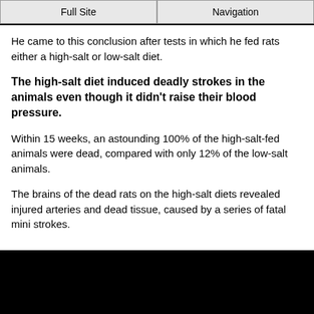Full Site | Navigation
He came to this conclusion after tests in which he fed rats either a high-salt or low-salt diet.
The high-salt diet induced deadly strokes in the animals even though it didn't raise their blood pressure.
Within 15 weeks, an astounding 100% of the high-salt-fed animals were dead, compared with only 12% of the low-salt animals.
The brains of the dead rats on the high-salt diets revealed injured arteries and dead tissue, caused by a series of fatal mini strokes.